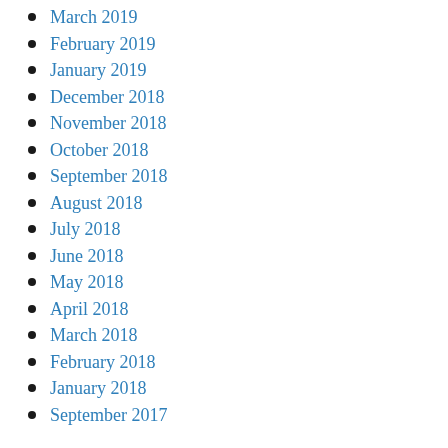March 2019
February 2019
January 2019
December 2018
November 2018
October 2018
September 2018
August 2018
July 2018
June 2018
May 2018
April 2018
March 2018
February 2018
January 2018
September 2017